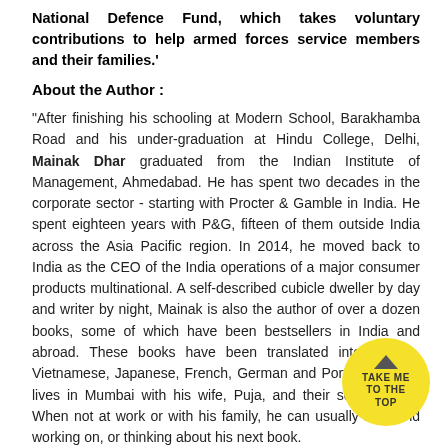National Defence Fund, which takes voluntary contributions to help armed forces service members and their families.'
About the Author :
"After finishing his schooling at Modern School, Barakhamba Road and his under-graduation at Hindu College, Delhi, Mainak Dhar graduated from the Indian Institute of Management, Ahmedabad. He has spent two decades in the corporate sector - starting with Procter & Gamble in India. He spent eighteen years with P&G, fifteen of them outside India across the Asia Pacific region. In 2014, he moved back to India as the CEO of the India operations of a major consumer products multinational. A self-described cubicle dweller by day and writer by night, Mainak is also the author of over a dozen books, some of which have been bestsellers in India and abroad. These books have been translated into Turkish, Vietnamese, Japanese, French, German and Portuguese. He lives in Mumbai with his wife, Puja, and their son, Aaditya. When not at work or with his family, he can usually be found working on, or thinking about his next book.
[Figure (other): Yellow circular button with upward arrow and text 'TAKE ME TO THE TOP']